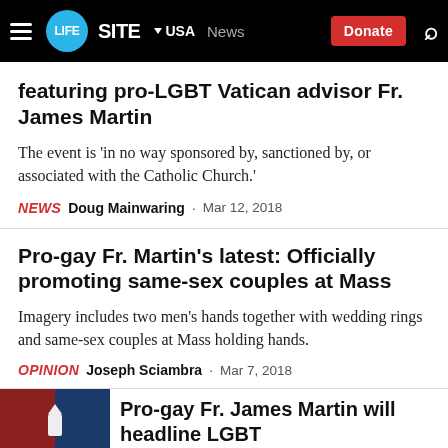LIFESITE USA News Donate
featuring pro-LGBT Vatican advisor Fr. James Martin
The event is 'in no way sponsored by, sanctioned by, or associated with the Catholic Church.'
NEWS Doug Mainwaring · Mar 12, 2018
Pro-gay Fr. Martin's latest: Officially promoting same-sex couples at Mass
Imagery includes two men's hands together with wedding rings and same-sex couples at Mass holding hands.
OPINION Joseph Sciambra · Mar 7, 2018
Pro-gay Fr. James Martin will headline LGBT